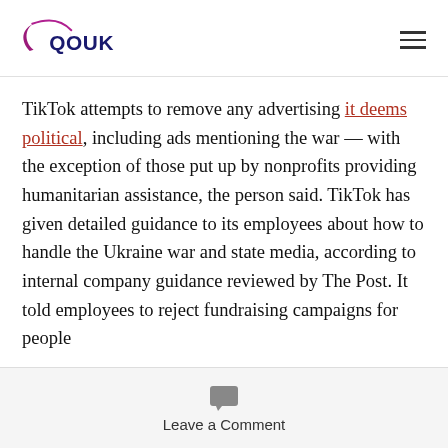QOUK
TikTok attempts to remove any advertising it deems political, including ads mentioning the war — with the exception of those put up by nonprofits providing humanitarian assistance, the person said. TikTok has given detailed guidance to its employees about how to handle the Ukraine war and state media, according to internal company guidance reviewed by The Post. It told employees to reject fundraising campaigns for people
Leave a Comment